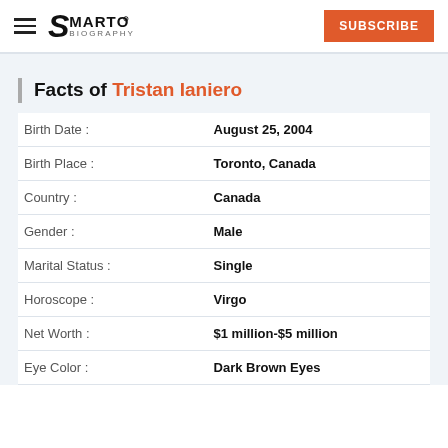SMARTO BIOGRAPHY | SUBSCRIBE
Facts of Tristan Ianiero
| Field | Value |
| --- | --- |
| Birth Date : | August 25, 2004 |
| Birth Place : | Toronto, Canada |
| Country : | Canada |
| Gender : | Male |
| Marital Status : | Single |
| Horoscope : | Virgo |
| Net Worth : | $1 million-$5 million |
| Eye Color : | Dark Brown Eyes |